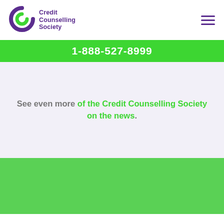[Figure (logo): Credit Counselling Society logo with stylized C icon in purple and green, and text 'Credit Counselling Society' in purple]
1-888-527-8999
See even more of the Credit Counselling Society on the news.